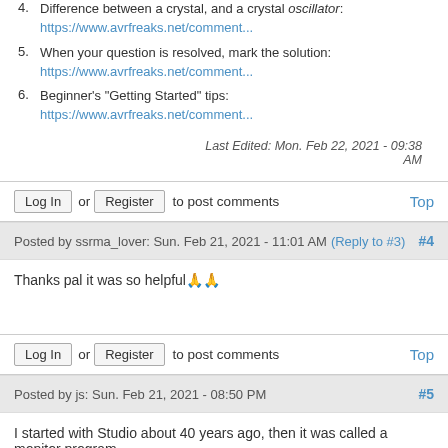4. Difference between a crystal, and a crystal oscillator: https://www.avrfreaks.net/comment...
5. When your question is resolved, mark the solution: https://www.avrfreaks.net/comment...
6. Beginner's "Getting Started" tips: https://www.avrfreaks.net/comment...
Last Edited: Mon. Feb 22, 2021 - 09:38 AM
Log In or Register to post comments  Top
Posted by ssrma_lover: Sun. Feb 21, 2021 - 11:01 AM (Reply to #3) #4
Thanks pal it was so helpful🙏🙏
Log In or Register to post comments  Top
Posted by js: Sun. Feb 21, 2021 - 08:50 PM #5
I started with Studio about 40 years ago, then it was called a monitor program. 🤓